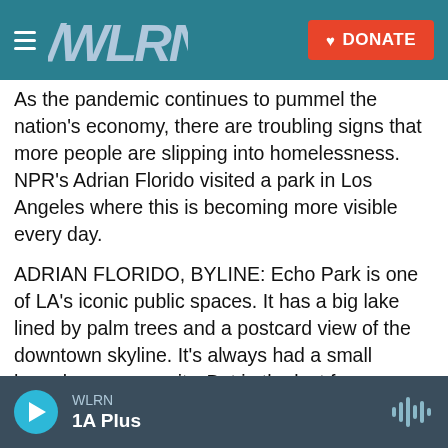WLRN — navigation bar with hamburger menu, WLRN logo, and DONATE button
As the pandemic continues to pummel the nation's economy, there are troubling signs that more people are slipping into homelessness. NPR's Adrian Florido visited a park in Los Angeles where this is becoming more visible every day.
ADRIAN FLORIDO, BYLINE: Echo Park is one of LA's iconic public spaces. It has a big lake lined by palm trees and a postcard view of the downtown skyline. It's always had a small homeless community. But in the last few months, people sleeping in tents have filled half of the park's 16 acres. Jesse Briandi moved in four months ago after losing his job
WLRN — 1A Plus (audio player bar)